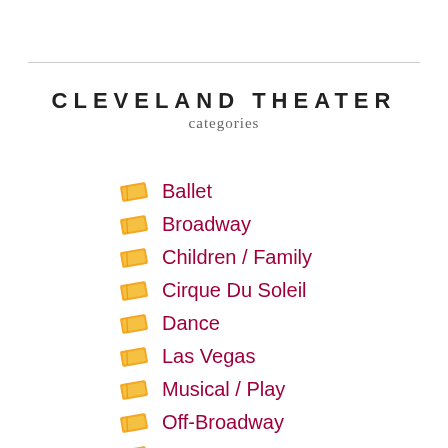CLEVELAND THEATER
categories
Ballet
Broadway
Children / Family
Cirque Du Soleil
Dance
Las Vegas
Musical / Play
Off-Broadway
Opera
Other
West End…